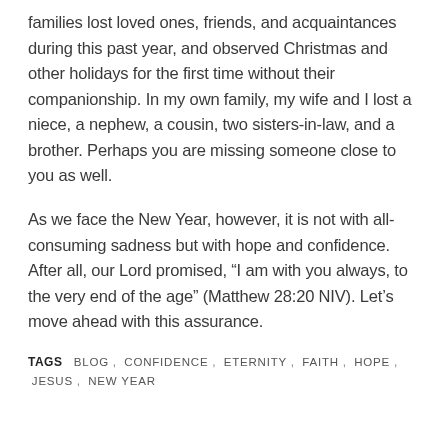families lost loved ones, friends, and acquaintances during this past year, and observed Christmas and other holidays for the first time without their companionship. In my own family, my wife and I lost a niece, a nephew, a cousin, two sisters-in-law, and a brother. Perhaps you are missing someone close to you as well.
As we face the New Year, however, it is not with all-consuming sadness but with hope and confidence. After all, our Lord promised, “I am with you always, to the very end of the age” (Matthew 28:20 NIV). Let’s move ahead with this assurance.
TAGS  BLOG ,  CONFIDENCE ,  ETERNITY ,  FAITH ,  HOPE ,  JESUS ,  NEW YEAR